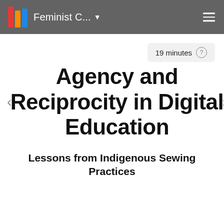Feminist C... ▾
19 minutes
Agency and Reciprocity in Digital Education
Lessons from Indigenous Sewing Practices